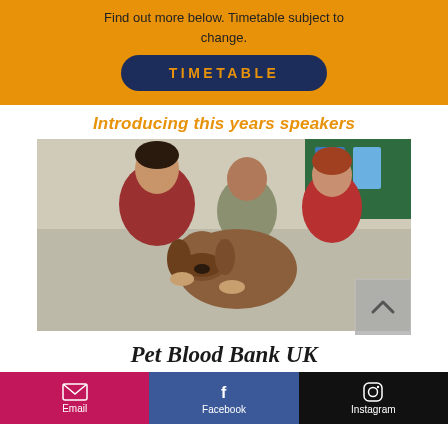Find out more below. Timetable subject to change.
TIMETABLE
Introducing this years speakers
[Figure (photo): Two people in red shirts and a man in a grey shirt interacting with a large brown boxer dog in a classroom/community room setting.]
Pet Blood Bank UK
Email | Facebook | Instagram